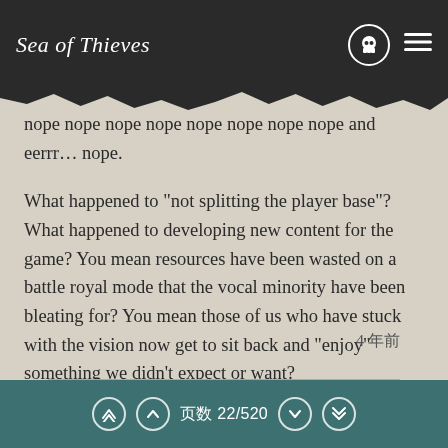Sea of Thieves
nope nope nope nope nope nope nope nope and eerrr... nope.
What happened to "not splitting the player base"? What happened to developing new content for the game? You mean resources have been wasted on a battle royal mode that the vocal minority have been bleating for? You mean those of us who have stuck with the vision now get to sit back and "enjoy" something we didn't expect or want?
Nope, no ta!
4 年前
页数 22/520